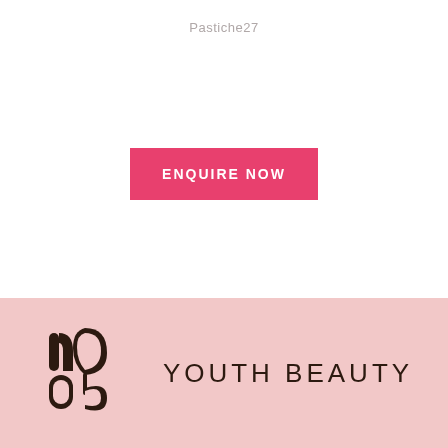Pastiche27
[Figure (other): Pink rectangular button with white bold uppercase text reading ENQUIRE NOW]
[Figure (logo): Youth Beauty logo: a stylized YB monogram in dark brown with leaf element, followed by the text YOUTH BEAUTY in uppercase, on a pink background]